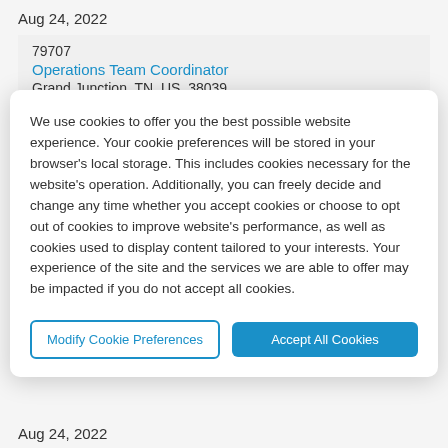Aug 24, 2022
79707
Operations Team Coordinator
Grand Junction, TN, US, 38039
We use cookies to offer you the best possible website experience. Your cookie preferences will be stored in your browser's local storage. This includes cookies necessary for the website's operation. Additionally, you can freely decide and change any time whether you accept cookies or choose to opt out of cookies to improve website's performance, as well as cookies used to display content tailored to your interests. Your experience of the site and the services we are able to offer may be impacted if you do not accept all cookies.
Modify Cookie Preferences
Accept All Cookies
Aug 24, 2022